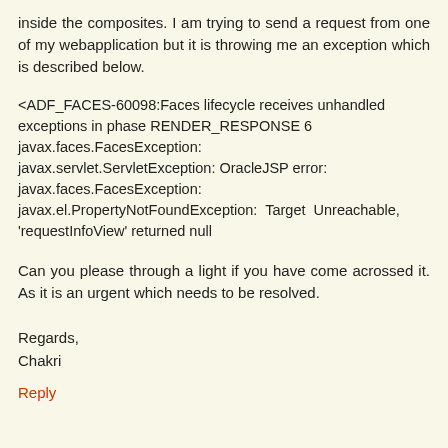inside the composites. I am trying to send a request from one of my webapplication but it is throwing me an exception which is described below.
<ADF_FACES-60098:Faces lifecycle receives unhandled exceptions in phase RENDER_RESPONSE 6 javax.faces.FacesException: javax.servlet.ServletException: OracleJSP error: javax.faces.FacesException: javax.el.PropertyNotFoundException: Target Unreachable, 'requestInfoView' returned null
Can you please through a light if you have come acrossed it. As it is an urgent which needs to be resolved.
Regards,
Chakri
Reply